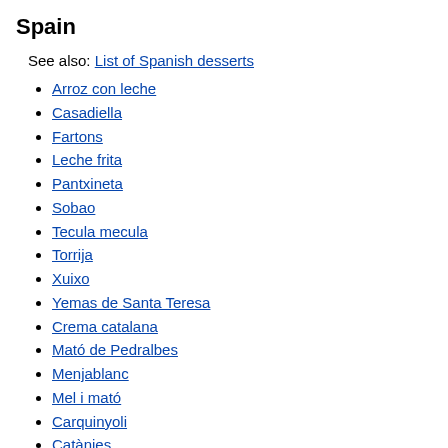Spain
See also: List of Spanish desserts
Arroz con leche
Casadiella
Fartons
Leche frita
Pantxineta
Sobao
Tecula mecula
Torrija
Xuixo
Yemas de Santa Teresa
Crema catalana
Mató de Pedralbes
Menjablanc
Mel i mató
Carquinyoli
Catànies
coques
bunyols
Panollet